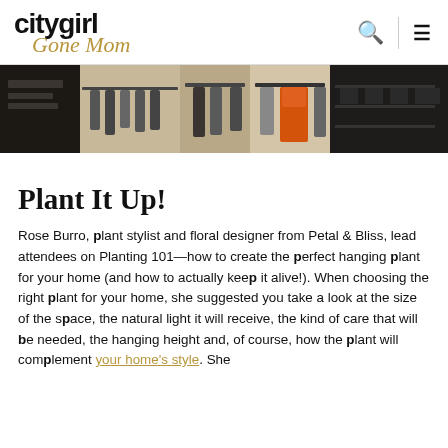citygirl Gone Mom
[Figure (photo): A clothing store or boutique interior showing hanging garments including an orange dress, racks of clothes, and shelving in the background.]
Plant It Up!
Rose Burro, plant stylist and floral designer from Petal & Bliss, lead attendees on Planting 101—how to create the perfect hanging plant for your home (and how to actually keep it alive!). When choosing the right plant for your home, she suggested you take a look at the size of the space, the natural light it will receive, the kind of care that will be needed, the hanging height and, of course, how the plant will complement your home's style. She